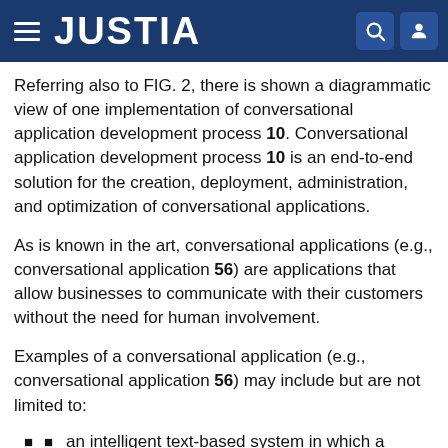JUSTIA
Referring also to FIG. 2, there is shown a diagrammatic view of one implementation of conversational application development process 10. Conversational application development process 10 is an end-to-end solution for the creation, deployment, administration, and optimization of conversational applications.
As is known in the art, conversational applications (e.g., conversational application 56) are applications that allow businesses to communicate with their customers without the need for human involvement.
Examples of a conversational application (e.g., conversational application 56) may include but are not limited to:
an intelligent text-based system in which a customer may send inquires to the